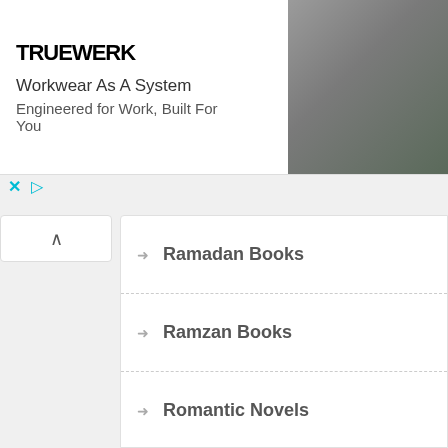[Figure (screenshot): Advertisement banner for TRUEWERK brand. Logo on left, text 'Workwear As A System' and 'Engineered for Work, Built For You', with a photo of a man working on the right.]
Ramadan Books
Ramzan Books
Romantic Novels
Safdar Shaheen
Sanjeeda Khatoon
Seerat Books
Shahzad Qais
Sheikh Saadi
Sim Codes